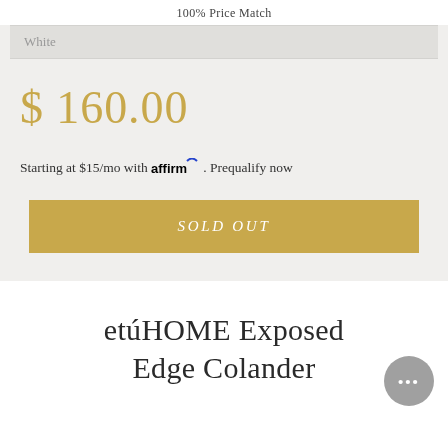100% Price Match
White
$ 160.00
Starting at $15/mo with affirm. Prequalify now
SOLD OUT
etúHOME Exposed Edge Colander